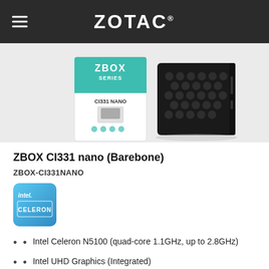ZOTAC
[Figure (photo): Product photo of ZBOX CI331 nano mini PC and its retail box. The box shows 'ZBOX SERIES' and 'CI331 NANO' branding in teal/white colors. The device itself is a small black mini PC with hexagonal ventilation holes on the side.]
ZBOX CI331 nano (Barebone)
ZBOX-CI331NANO
[Figure (logo): Intel Celeron processor badge/logo in blue gradient color]
Intel Celeron N5100 (quad-core 1.1GHz, up to 2.8GHz)
Intel UHD Graphics (Integrated)
Bluetooth 5 / WiFi 5 / 2 x 10/100/1000Mbps